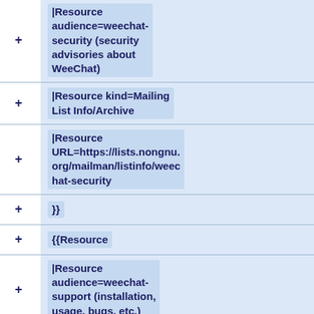|Resource audience=weechat-security (security advisories about WeeChat)
|Resource kind=Mailing List Info/Archive
|Resource URL=https://lists.nongnu.org/mailman/listinfo/weechat-security
}}
{{Resource
|Resource audience=weechat-support (installation, usage, bugs, etc.)
|Resource kind=Mailing List Info/Archive